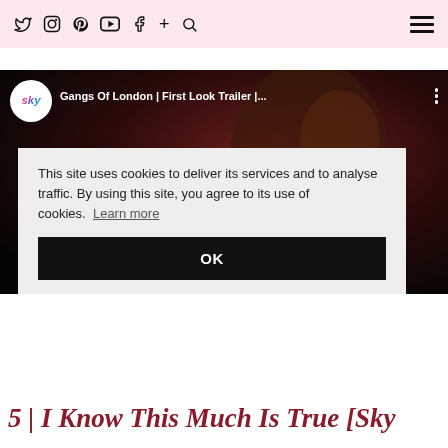Twitter Instagram Pinterest YouTube Facebook + Search | Menu
[Figure (screenshot): YouTube video embed showing Sky's 'Gangs Of London | First Look Trailer |...' with a dark cinematic thumbnail of a man's face in profile, with a play button overlay. A cookie consent overlay reads: 'This site uses cookies to deliver its services and to analyse traffic. By using this site, you agree to its use of cookies. Learn more' with an OK button.]
This site uses cookies to deliver its services and to analyse traffic. By using this site, you agree to its use of cookies. Learn more
OK
5 | I Know This Much Is True [Sky